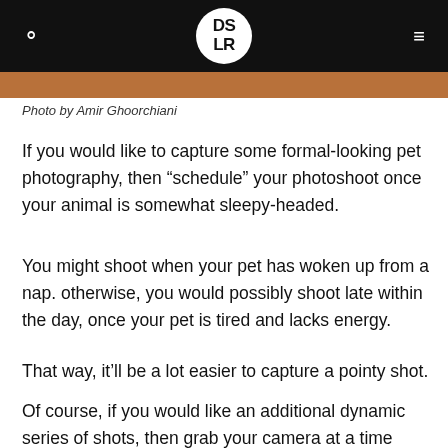DSLR
[Figure (photo): Partial view of a pet photo strip at top of content area]
Photo by Amir Ghoorchiani
If you would like to capture some formal-looking pet photography, then “schedule” your photoshoot once your animal is somewhat sleepy-headed.
You might shoot when your pet has woken up from a nap. otherwise, you would possibly shoot late within the day, once your pet is tired and lacks energy.
That way, it’ll be a lot easier to capture a pointy shot.
Of course, if you would like an additional dynamic series of shots, then grab your camera at a time once your pet is